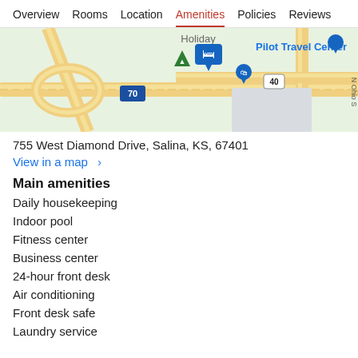Overview  Rooms  Location  Amenities  Policies  Reviews
[Figure (map): Google Maps view showing Holiday Inn area near I-70 and Route 40 in Salina, KS. Shows Pilot Travel Center, highway interchanges, and map markers.]
755 West Diamond Drive, Salina, KS, 67401
View in a map  >
Main amenities
Daily housekeeping
Indoor pool
Fitness center
Business center
24-hour front desk
Air conditioning
Front desk safe
Laundry service